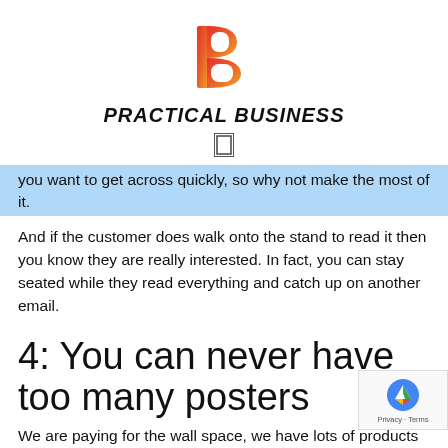[Figure (logo): Practical Business logo — stylized letter B in red-to-orange gradient on a square background]
PRACTICAL BUSINESS
[Figure (other): Small rectangular icon/separator symbol]
you want to get across quickly, so why not make the most of it.
And if the customer does walk onto the stand to read it then you know they are really interested. In fact, you can stay seated while they read everything and catch up on another email.
4: You can never have too many posters
We are paying for the wall space, we have lots of products